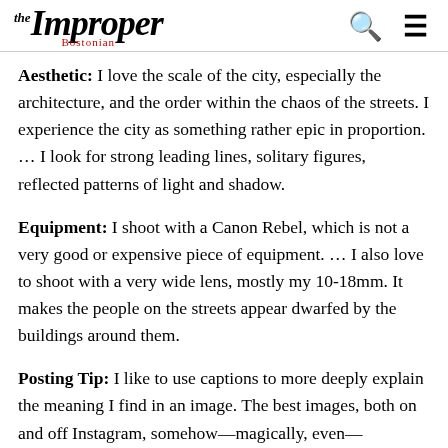the Improper Bostonian
Aesthetic: I love the scale of the city, especially the architecture, and the order within the chaos of the streets. I experience the city as something rather epic in proportion. … I look for strong leading lines, solitary figures, reflected patterns of light and shadow.
Equipment: I shoot with a Canon Rebel, which is not a very good or expensive piece of equipment. … I also love to shoot with a very wide lens, mostly my 10-18mm. It makes the people on the streets appear dwarfed by the buildings around them.
Posting Tip: I like to use captions to more deeply explain the meaning I find in an image. The best images, both on and off Instagram, somehow—magically, even—communicate a larger idea or evoke an emotion.